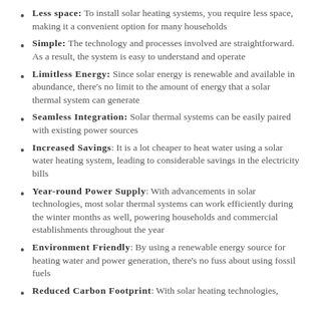Less space: To install solar heating systems, you require less space, making it a convenient option for many households
Simple: The technology and processes involved are straightforward. As a result, the system is easy to understand and operate
Limitless Energy: Since solar energy is renewable and available in abundance, there's no limit to the amount of energy that a solar thermal system can generate
Seamless Integration: Solar thermal systems can be easily paired with existing power sources
Increased Savings: It is a lot cheaper to heat water using a solar water heating system, leading to considerable savings in the electricity bills
Year-round Power Supply: With advancements in solar technologies, most solar thermal systems can work efficiently during the winter months as well, powering households and commercial establishments throughout the year
Environment Friendly: By using a renewable energy source for heating water and power generation, there's no fuss about using fossil fuels
Reduced Carbon Footprint: With solar heating technologies,